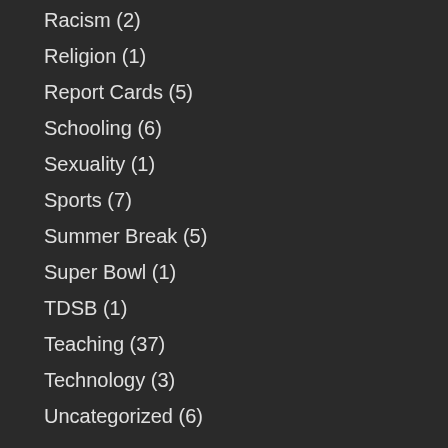Racism (2)
Religion (1)
Report Cards (5)
Schooling (6)
Sexuality (1)
Sports (7)
Summer Break (5)
Super Bowl (1)
TDSB (1)
Teaching (37)
Technology (3)
Uncategorized (6)